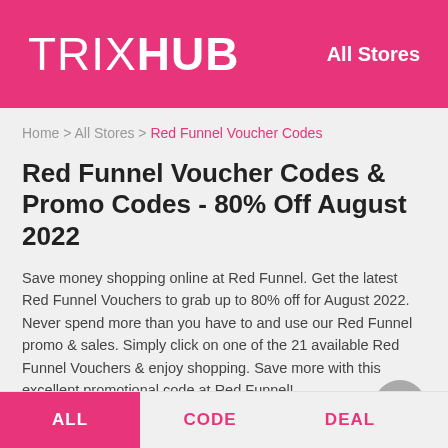TRIXHUB  All Stores
Home > All Stores > Red Funnel Voucher Codes
Red Funnel Voucher Codes & Promo Codes - 80% Off August 2022
Save money shopping online at Red Funnel. Get the latest Red Funnel Vouchers to grab up to 80% off for August 2022. Never spend more than you have to and use our Red Funnel promo & sales. Simply click on one of the 21 available Red Funnel Vouchers & enjoy shopping. Save more with this excellent promotional code at Red Funnel!
ALL  CODE  DEAL